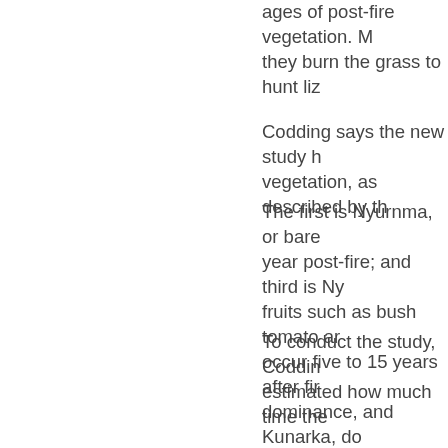ages of post-fire vegetation. M... they burn the grass to hunt liz...
Codding says the new study h... vegetation, as described by th...
The first is Nyurnma, or bare... year post-fire; and third is Ny... fruits such as bush tomato ar... occur five to 15 years after fir... dominance, and Kunarka, do...
To conduct the study, Coddin... estimated how much time the...
"We went hunting with people... (including lizards and kangare... monitored how long Martu hu... hunts.
They also walked two predete...